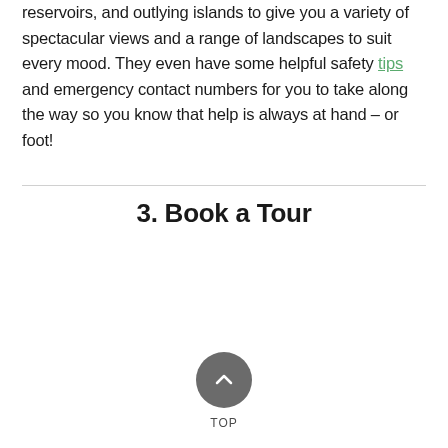reservoirs, and outlying islands to give you a variety of spectacular views and a range of landscapes to suit every mood. They even have some helpful safety tips and emergency contact numbers for you to take along the way so you know that help is always at hand – or foot!
3. Book a Tour
[Figure (other): A circular grey button with a white upward-pointing chevron arrow, labeled 'TOP' beneath it — a back-to-top navigation button.]